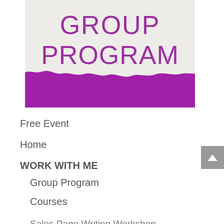[Figure (illustration): Group Program banner image with large purple text 'GROUP PROGRAM' on a light gray/beige background at the top, with a torn paper effect revealing a solid purple/magenta section below]
Free Event
Home
WORK WITH ME
Group Program
Courses
Sales Page Writing Workshop